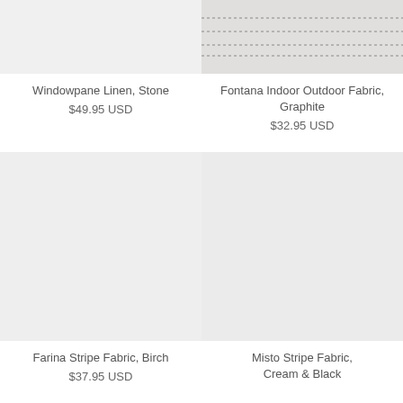[Figure (photo): Light gray fabric swatch - Windowpane Linen, Stone]
Windowpane Linen, Stone
$49.95 USD
[Figure (photo): Fabric swatch with dotted stripe pattern - Fontana Indoor Outdoor Fabric, Graphite]
Fontana Indoor Outdoor Fabric, Graphite
$32.95 USD
[Figure (photo): Light gray fabric swatch - Farina Stripe Fabric, Birch]
Farina Stripe Fabric, Birch
$37.95 USD
[Figure (photo): Light gray fabric swatch - Misto Stripe Fabric, Cream & Black]
Misto Stripe Fabric, Cream & Black